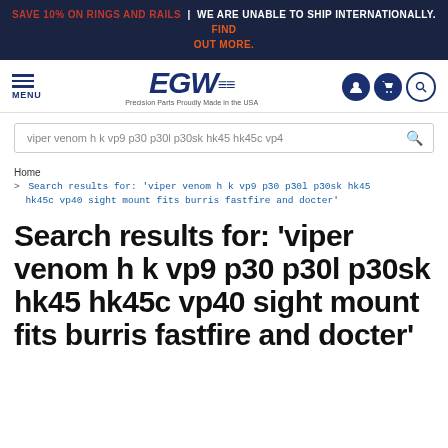SAVE 10% ON RINGS AND RAILS | WE ARE UNABLE TO SHIP INTERNATIONALLY. FIND OUT MORE.
[Figure (logo): EGW logo with tagline 'Precision Parts Proudly Made in the USA', hamburger menu icon labeled MENU, user and cart icon circles]
viper venom h k vp9 p30 p30l p30sk hk45 hk45c vp4
Home > Search results for: 'viper venom h k vp9 p30 p30l p30sk hk45 hk45c vp40 sight mount fits burris fastfire and docter'
Search results for: 'viper venom h k vp9 p30 p30l p30sk hk45 hk45c vp40 sight mount fits burris fastfire and docter'